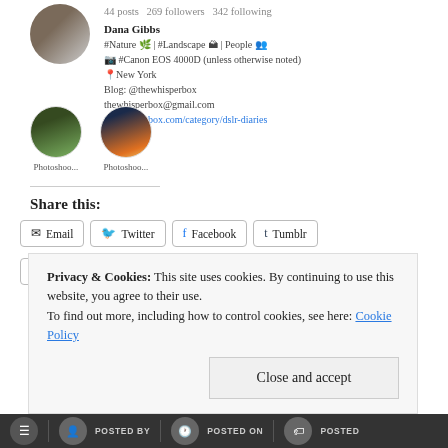[Figure (photo): Instagram profile section showing profile photo, stats (posts, followers, following), name Dana Gibbs, bio with hashtags and links]
Dana Gibbs
#Nature 🌿 | #Landscape 🏔 | People 👥
📷 #Canon EOS 4000D (unless otherwise noted)
📍New York
Blog: @thewhisperbox
thewhisperbox@gmail.com
thewhisperbox.com/category/dslr-diaries
[Figure (photo): Two circular story thumbnail images labeled 'Photoshoo...']
Photoshoo...
Photoshoo...
Share this:
Email  Twitter  Facebook  Tumblr  LinkedIn  Pinterest 1  Reddit  Pocket
Privacy & Cookies: This site uses cookies. By continuing to use this website, you agree to their use.
To find out more, including how to control cookies, see here: Cookie Policy
Close and accept
POSTED BY   POSTED ON   POSTED